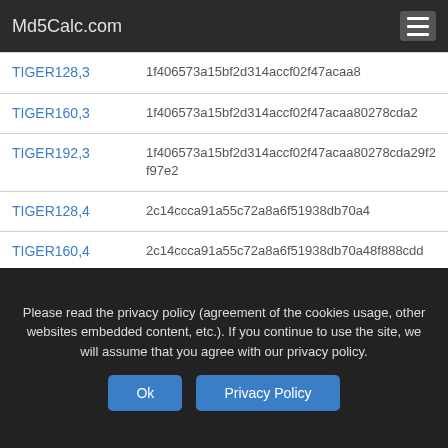Md5Calc.com
| Algorithm | Hash |
| --- | --- |
| TIGER128,3 | 1f406573a15bf2d314accf02f47acaa8 |
| TIGER160,3 | 1f406573a15bf2d314accf02f47acaa80278cda2 |
| TIGER192,3 | 1f406573a15bf2d314accf02f47acaa80278cda29f2f97e2 |
| TIGER128,4 | 2c14ccca91a55c72a8a6f51938db70a4 |
| TIGER160,4 | 2c14ccca91a55c72a8a6f51938db70a48f888cdd |
| TIGER192,4 | 2c14ccca91a55c72a8a6f51938db70a48f888cddd98e74c2 |
| SNEFRU | 72aa76bc806c7a96bb7a02437dd80f5a6f7f565fa1245f13f03b26873f4f8eb2 |
| SNEFRU256 | 72aa76bc806c7a96bb7a02437dd80f5a6f7f565fa |
Please read the privacy policy (agreement of the cookies usage, other websites embedded content, etc.). If you continue to use the site, we will assume that you agree with our privacy policy.